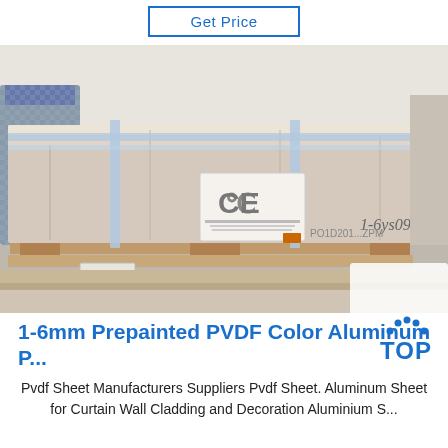Get Price
[Figure (photo): Packaged aluminum/PVDF sheets stacked on wooden pallets, wrapped in protective covering with blue strapping bands, CE marking label visible, in a warehouse/exhibition setting with people in background.]
1-6mm Prepainted PVDF Color Aluminum P...
[Figure (logo): TOP logo with blue dotted arc above the text TOP in blue letters]
Pvdf Sheet Manufacturers Suppliers Pvdf Sheet. Aluminum Sheet for Curtain Wall Cladding and Decoration Aluminium S...